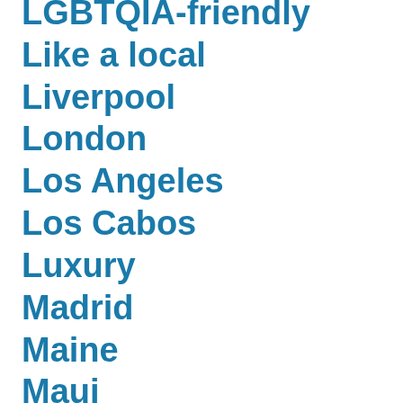LGBTQIA-friendly
Like a local
Liverpool
London
Los Angeles
Los Cabos
Luxury
Madrid
Maine
Maui
Melbourne
Memphis